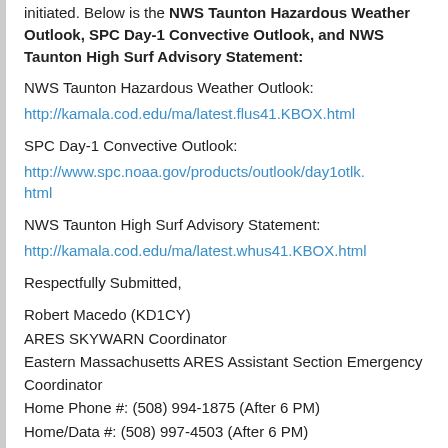initiated. Below is the NWS Taunton Hazardous Weather Outlook, SPC Day-1 Convective Outlook, and NWS Taunton High Surf Advisory Statement:
NWS Taunton Hazardous Weather Outlook:
http://kamala.cod.edu/ma/latest.flus41.KBOX.html
SPC Day-1 Convective Outlook:
http://www.spc.noaa.gov/products/outlook/day1otlk.html
NWS Taunton High Surf Advisory Statement:
http://kamala.cod.edu/ma/latest.whus41.KBOX.html
Respectfully Submitted,
Robert Macedo (KD1CY)
ARES SKYWARN Coordinator
Eastern Massachusetts ARES Assistant Section Emergency Coordinator
Home Phone #: (508) 994-1875 (After 6 PM)
Home/Data #: (508) 997-4503 (After 6 PM)